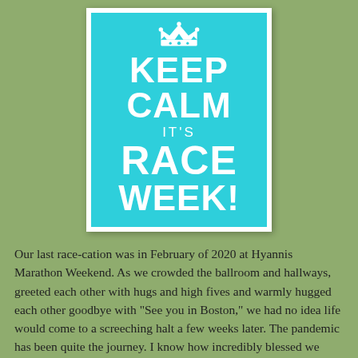[Figure (illustration): A 'Keep Calm and Carry On' style poster with cyan/turquoise background and white text reading 'KEEP CALM IT'S RACE WEEK!' with a crown at the top, displayed in a white border frame.]
Our last race-cation was in February of 2020 at Hyannis Marathon Weekend. As we crowded the ballroom and hallways, greeted each other with hugs and high fives and warmly hugged each other goodbye with "See you in Boston," we had no idea life would come to a screeching halt a few weeks later. The pandemic has been quite the journey. I know how incredibly blessed we have been through it all. Ruth Anne had to take yet another COVID test